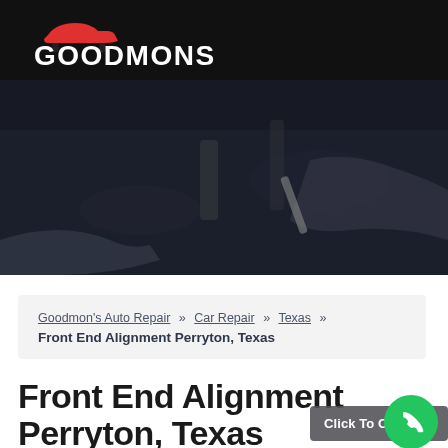[Figure (logo): Goodmons auto repair logo - white text GOODMONS with red car silhouette on black background]
[Figure (photo): Mechanic hands working on car engine with tools, dark overlaid photo]
Goodmon's Auto Repair » Car Repair » Texas » Front End Alignment Perryton, Texas
Front End Alignment Perryton, Texas
Click To Call Now